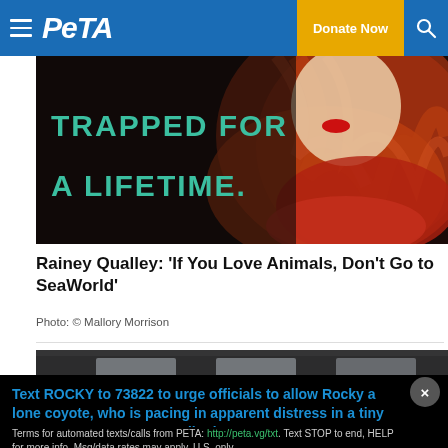PETA — Donate Now
[Figure (photo): PETA campaign photo: woman with red hair and orange feathers with text 'TRAPPED FOR A LIFETIME.' overlaid on dark background]
Rainey Qualley: 'If You Love Animals, Don't Go to SeaWorld'
Photo: © Mallory Morrison
[Figure (photo): Indoor room photo with ceiling lights, partially visible]
Text ROCKY to 73822 to urge officials to allow Rocky a lone coyote, who is pacing in apparent distress in a tiny cage, to move to an accredited sanctuary.
Terms for automated texts/calls from PETA: http://peta.vg/txt. Text STOP to end, HELP for more info. Msg/data rates may apply. U.S. only.